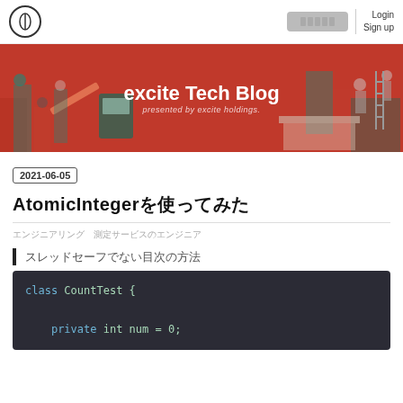excite Tech Blog — Login / Sign up
[Figure (illustration): excite Tech Blog banner — red background with isometric tech illustrations and text 'excite Tech Blog presented by excite holdings.']
2021-06-05
AtomicInteger（日本語タイトル）
（著者情報・日本語テキスト）
（日本語セクションヘッダー）
class CountTest {

    private int num = 0;